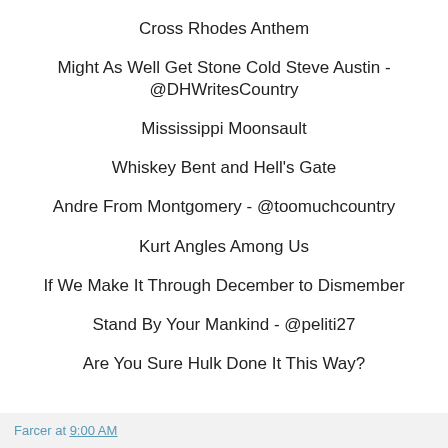Cross Rhodes Anthem
Might As Well Get Stone Cold Steve Austin - @DHWritesCountry
Mississippi Moonsault
Whiskey Bent and Hell's Gate
Andre From Montgomery - @toomuchcountry
Kurt Angles Among Us
If We Make It Through December to Dismember
Stand By Your Mankind - @peliti27
Are You Sure Hulk Done It This Way?
Farcer at 9:00 AM